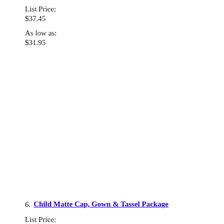List Price:
$37.45
As low as:
$31.95
6. Child Matte Cap, Gown & Tassel Package
List Price: